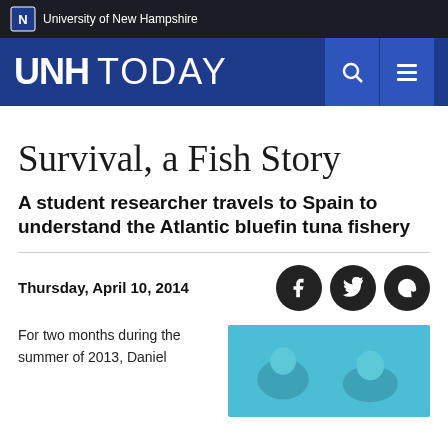University of New Hampshire
UNH TODAY
Survival, a Fish Story
A student researcher travels to Spain to understand the Atlantic bluefin tuna fishery
Thursday, April 10, 2014
For two months during the summer of 2013, Daniel...
[Figure (photo): Photo of people, partially visible at bottom right of page]